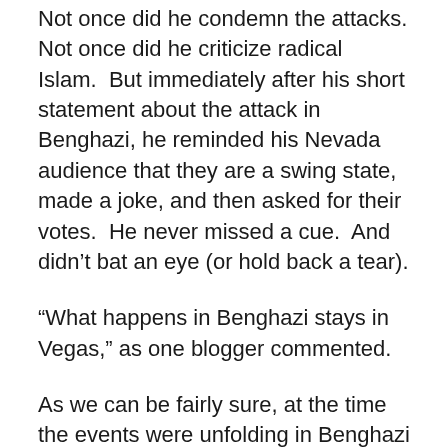Not once did he condemn the attacks. Not once did he criticize radical Islam.  But immediately after his short statement about the attack in Benghazi, he reminded his Nevada audience that they are a swing state, made a joke, and then asked for their votes.  He never missed a cue.  And didn't bat an eye (or hold back a tear).
“What happens in Benghazi stays in Vegas,” as one blogger commented.
As we can be fairly sure, at the time the events were unfolding in Benghazi and in Cairo, Secretary Clinton knew full well that the independent film about Mohammed has even less to do with the protests, the attacks, and the savage killings than did the Danish cartoons or the schoolteacher’s teddy bear or any of the other insults of Islam. The 400-strong assault force in Benghazi showed